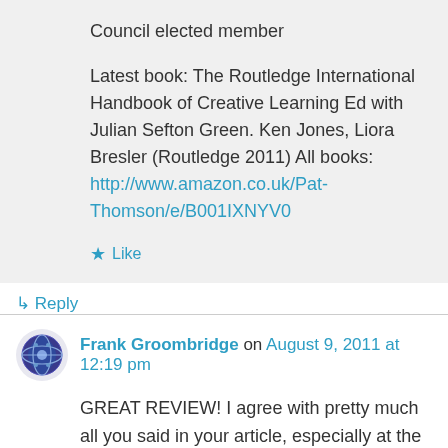Council elected member
Latest book: The Routledge International Handbook of Creative Learning Ed with Julian Sefton Green. Ken Jones, Liora Bresler (Routledge 2011) All books: http://www.amazon.co.uk/Pat-Thomson/e/B001IXNYV0
★ Like
↳ Reply
Frank Groombridge on August 9, 2011 at 12:19 pm
GREAT REVIEW! I agree with pretty much all you said in your article, especially at the beggining of your article. Thank you, this info is